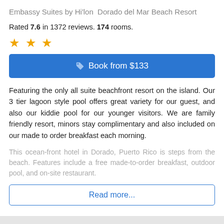Embassy Suites by Hilton Dorado del Mar Beach Resort
Rated 7.6 in 1372 reviews. 174 rooms.
[Figure (other): Three gold star rating icons]
Book from $133
Featuring the only all suite beachfront resort on the island. Our 3 tier lagoon style pool offers great variety for our guest, and also our kiddie pool for our younger visitors. We are family friendly resort, minors stay complimentary and also included on our made to order breakfast each morning.
This ocean-front hotel in Dorado, Puerto Rico is steps from the beach. Features include a free made-to-order breakfast, outdoor pool, and on-site restaurant.
Read more...